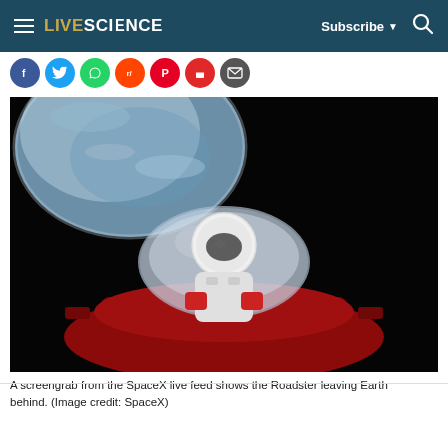LIVESCIENCE  Subscribe  [search]
[Figure (photo): Social media sharing icons in a row: Facebook (blue), Twitter (light blue), WhatsApp (green), Reddit (orange-red), Pinterest (red), Flipboard (red), Email (dark gray)]
[Figure (photo): A screengrab from the SpaceX live feed showing a mannequin (Starman) in a spacesuit seated in Elon Musk's red Tesla Roadster convertible floating in space, with Earth visible in the upper-left background against a black sky.]
A screengrab from the SpaceX live feed shows the Roadster leaving Earth behind. (Image credit: SpaceX)